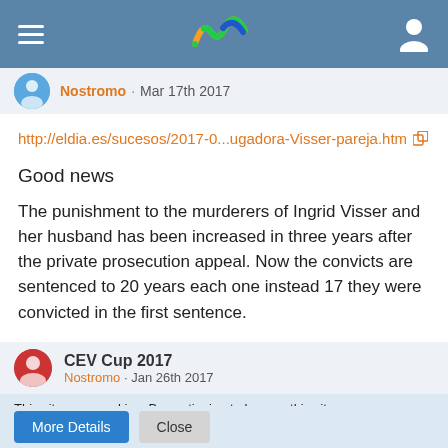[Figure (screenshot): Mobile app navigation bar with hamburger menu, colorful wave logo, and user profile icon on blue background]
Nostromo · Mar 17th 2017
http://eldia.es/sucesos/2017-0...ugadora-Visser-pareja.htm
Good news
The punishment to the murderers of Ingrid Visser and her husband has been increased in three years after the private prosecution appeal. Now the convicts are sentenced to 20 years each one instead 17 they were convicted in the first sentence.
CEV Cup 2017
Nostromo · Jan 26th 2017
This site uses cookies. By continuing to browse this site, you are agreeing to our use of cookies.